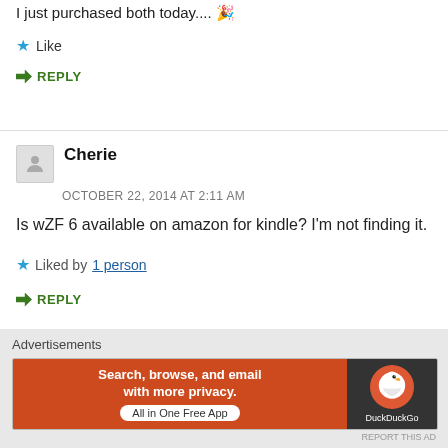I just purchased both today.... 🎉
★ Like
↪ REPLY
Cherie
OCTOBER 22, 2014 AT 2:11 AM
Is wZF 6 available on amazon for kindle? I'm not finding it.
★ Liked by 1 person
↪ REPLY
Advertisements
[Figure (other): DuckDuckGo advertisement banner: 'Search, browse, and email with more privacy. All in One Free App' with DuckDuckGo logo on dark background]